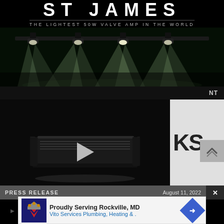THE LIGHTEST 50W VALVE AMP IN THE WORLD
[Figure (photo): Concert stage with multiple spotlights beaming down, green-tinted stage lighting on a dark background]
[Figure (screenshot): Video player with a dark background showing a black guitar amplifier head, with a white play button triangle in the center]
NT
KS
PRESS RELEASE
August 11, 2022
[Figure (advertisement): Ad for Vito Services Plumbing, Heating & with logo and blue direction arrow icon. Text: Proudly Serving Rockville, MD / Vito Services Plumbing, Heating &.]